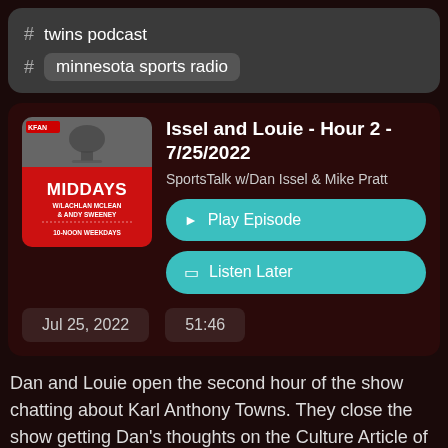# twins podcast
# minnesota sports radio
Issel and Louie - Hour 2 - 7/25/2022
SportsTalk w/Dan Issel & Mike Pratt
Play Episode
Listen Later
Jul 25, 2022   51:46
Dan and Louie open the second hour of the show chatting about Karl Anthony Towns. They close the show getting Dan's thoughts on the Culture Article of